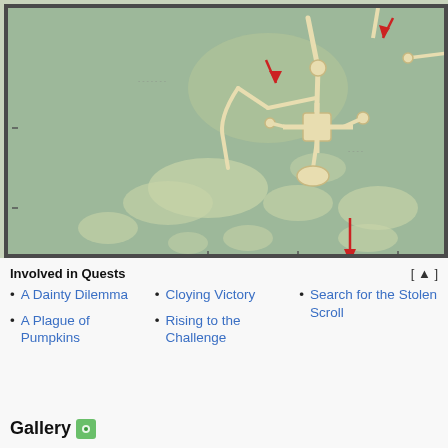[Figure (map): Fantasy game map showing terrain with paths, nodes, and red arrows indicating directions. The map has a yellowish-green parchment style with cream-colored landmasses and path networks.]
Involved in Quests
A Dainty Dilemma
A Plague of Pumpkins
Cloying Victory
Rising to the Challenge
Search for the Stolen Scroll
Gallery